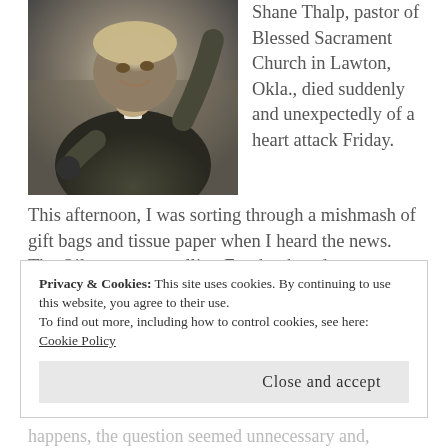[Figure (photo): A young smiling priest wearing a black clerical shirt with a white collar, raising one arm, holding something in the other hand. The photo has a slightly blurred, casual quality.]
Shane Thalp, pastor of Blessed Sacrament Church in Lawton, Okla., died suddenly and unexpectedly of a heart attack Friday.
This afternoon, I was sorting through a mishmash of gift bags and tissue paper when I heard the news. The Oilman was scrolling Facebook and saw a post about the funeral arrangements.
Privacy & Cookies: This site uses cookies. By continuing to use this website, you agree to their use.
To find out more, including how to control cookies, see here: Cookie Policy
Close and accept
happens, the question seemed unnecessary and,